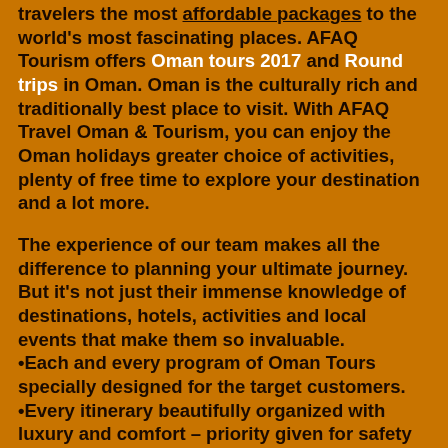travelers the most affordable packages to the world's most fascinating places. AFAQ Tourism offers Oman tours 2017 and Round trips in Oman. Oman is the culturally rich and traditionally best place to visit. With AFAQ Travel Oman & Tourism, you can enjoy the Oman holidays greater choice of activities, plenty of free time to explore your destination and a lot more.
The experience of our team makes all the difference to planning your ultimate journey. But it's not just their immense knowledge of destinations, hotels, activities and local events that make them so invaluable.
Each and every program of Oman Tours specially designed for the target customers.
Every itinerary beautifully organized with luxury and comfort – priority given for safety and security for your Oman Holidays.
Highly professional to make the leisure with a blend of infotainment.
Currently, the best in the gulf and emerging to be the global best.
Famous for its value with complete travel packages ranging from Short Trips, Long Trips, Custom Trips and other activities